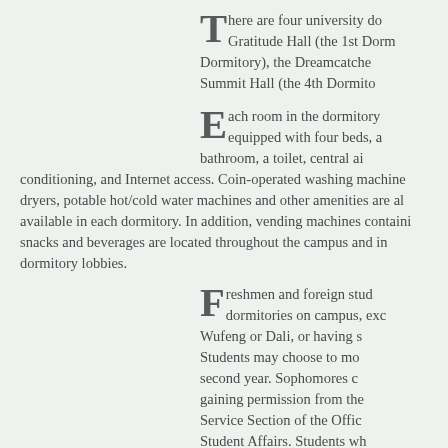There are four university dormitories: Gratitude Hall (the 1st Dormitory), the Dreamcatcher Dormitory), the Dreamcatcher Dormitory, and Summit Hall (the 4th Dormitory).
Each room in the dormitory is equipped with four beds, a bathroom, a toilet, central air conditioning, and Internet access. Coin-operated washing machines, dryers, potable hot/cold water machines and other amenities are also available in each dormitory. In addition, vending machines containing snacks and beverages are located throughout the campus and in dormitory lobbies.
Freshmen and foreign students are required to live in dormitories on campus, except for those coming from Wufeng or Dali, or having special circumstances. Students may choose to move off campus after their second year. Sophomores can move off campus after gaining permission from the Life and Student Service Section of the Office of Student Affairs. Students who get permission may live out of campus. There are many houses for rent around the campus.
Students are allowed to bring personal equipments like notebooks, hair dryers, etc., and an enthusiastic attitude towards university life. Some items are not allowed in dormitories, like elec...